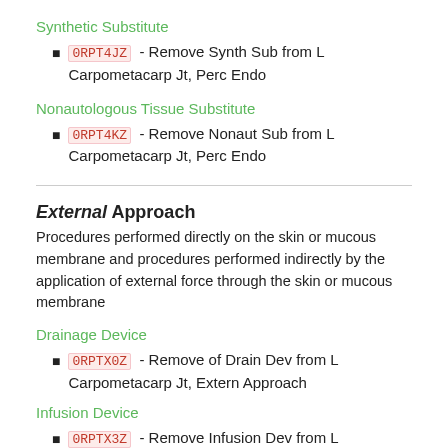Synthetic Substitute
0RPT4JZ - Remove Synth Sub from L Carpometacarp Jt, Perc Endo
Nonautologous Tissue Substitute
0RPT4KZ - Remove Nonaut Sub from L Carpometacarp Jt, Perc Endo
External Approach
Procedures performed directly on the skin or mucous membrane and procedures performed indirectly by the application of external force through the skin or mucous membrane
Drainage Device
0RPTX0Z - Remove of Drain Dev from L Carpometacarp Jt, Extern Approach
Infusion Device
0RPTX3Z - Remove Infusion Dev from L Carpometacarp